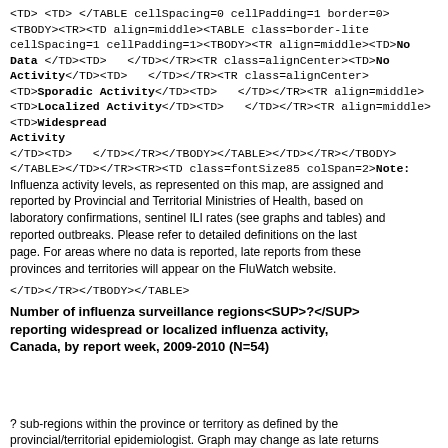<TD> <TD> </TABLE cellSpacing=0 cellPadding=1 border=0> <TBODY><TR><TD align=middle><TABLE class=border-lite cellSpacing=1 cellPadding=1><TBODY><TR align=middle><TD>No Data </TD><TD>   </TD></TR><TR class=alignCenter><TD>No Activity</TD><TD>   </TD></TR><TR class=alignCenter><TD>Sporadic Activity</TD><TD>   </TD></TR><TR align=middle><TD>Localized Activity</TD><TD>   </TD></TR><TR align=middle><TD>Widespread Activity </TD><TD>   </TD></TR></TBODY></TABLE></TD></TR></TBODY></TABLE></TD></TR><TR><TD class=fontSize85 colSpan=2>Note: Influenza activity levels, as represented on this map, are assigned and reported by Provincial and Territorial Ministries of Health, based on laboratory confirmations, sentinel ILI rates (see graphs and tables) and reported outbreaks. Please refer to detailed definitions on the last page. For areas where no data is reported, late reports from these provinces and territories will appear on the FluWatch website.
</TD></TR></TBODY></TABLE>
Number of influenza surveillance regions<SUP>?</SUP> reporting widespread or localized influenza activity, Canada, by report week, 2009-2010 (N=54)
? sub-regions within the province or territory as defined by the provincial/territorial epidemiologist. Graph may change as late returns come in.
Overall Number of Influenza Outbreaks, Canada, by Report Week, 2009-2010